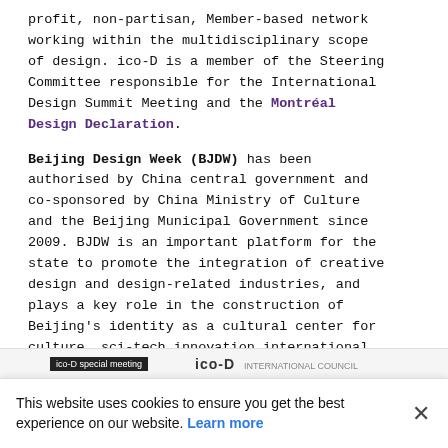profit, non-partisan, Member-based network working within the multidisciplinary scope of design. ico-D is a member of the Steering Committee responsible for the International Design Summit Meeting and the Montréal Design Declaration.
Beijing Design Week (BJDW) has been authorised by China central government and co-sponsored by China Ministry of Culture and the Beijing Municipal Government since 2009. BJDW is an important platform for the state to promote the integration of creative design and design-related industries, and plays a key role in the construction of Beijing's identity as a cultural center for culture, sci-tech innovation international communications.
ico-D special meeting  ico-D
This website uses cookies to ensure you get the best experience on our website. Learn more